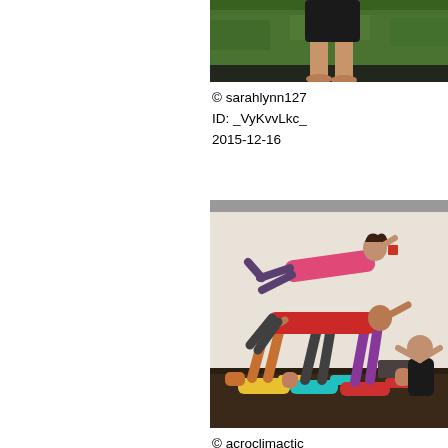[Figure (photo): Partial photo showing feet/legs of a person standing on grass, cropped at top]
© sarahlynn127
ID: _VyKvvLkc_
2015-12-16
[Figure (photo): Group of five people performing acroyoga poses indoors, forming a pyramid/layered structure with some lying on floor supporting others overhead]
© acroclimactic
ID: _SwK42Brt5
2015-12-15